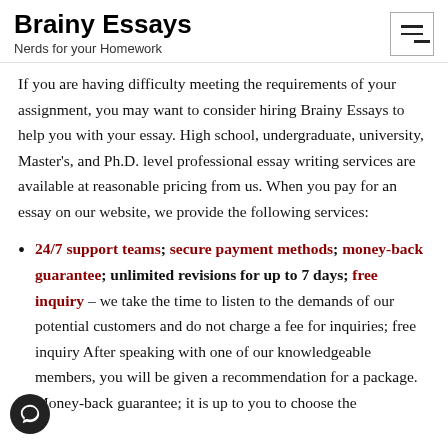Brainy Essays
Nerds for your Homework
If you are having difficulty meeting the requirements of your assignment, you may want to consider hiring Brainy Essays to help you with your essay. High school, undergraduate, university, Master's, and Ph.D. level professional essay writing services are available at reasonable pricing from us. When you pay for an essay on our website, we provide the following services:
24/7 support teams; secure payment methods; money-back guarantee; unlimited revisions for up to 7 days; free inquiry – we take the time to listen to the demands of our potential customers and do not charge a fee for inquiries; free inquiry After speaking with one of our knowledgeable members, you will be given a recommendation for a package. Money-back guarantee; it is up to you to choose the